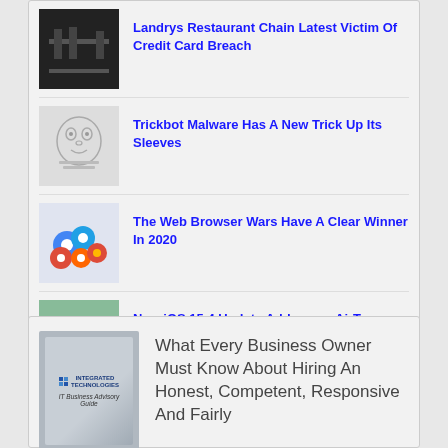Landrys Restaurant Chain Latest Victim Of Credit Card Breach
Trickbot Malware Has A New Trick Up Its Sleeves
The Web Browser Wars Have A Clear Winner In 2020
New iOS 15.4 Update Addresses AirTag Stalking Issue
What Every Business Owner Must Know About Hiring An Honest, Competent, Responsive And Fairly